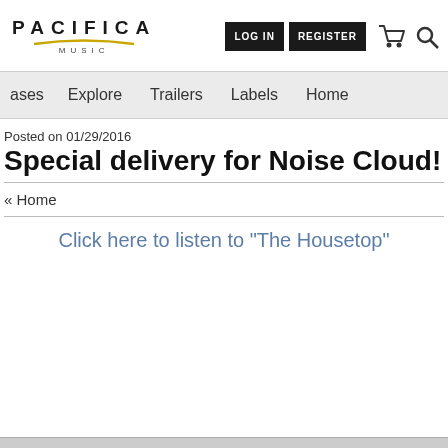PACIFICA MUSIC | LOG IN | REGISTER
ases   Explore   Trailers   Labels   Home
Posted on 01/29/2016
Special delivery for Noise Cloud!
« Home
Click here to listen to "The Housetop"